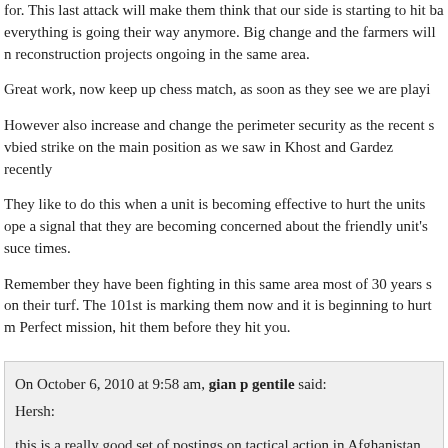for. This last attack will make them think that our side is starting to hit back, everything is going their way anymore. Big change and the farmers will note reconstruction projects ongoing in the same area.
Great work, now keep up chess match, as soon as they see we are playing
However also increase and change the perimeter security as the recent s vbied strike on the main position as we saw in Khost and Gardez recently
They like to do this when a unit is becoming effective to hurt the units ope a signal that they are becoming concerned about the friendly unit's success times.
Remember they have been fighting in this same area most of 30 years so on their turf. The 101st is marking them now and it is beginning to hurt m Perfect mission, hit them before they hit you.
On October 6, 2010 at 9:58 am, gian p gentile said:
Hersh:

this is a really good set of postings on tactical action in Afghanistan. They through some things about tactics, Coin, Afghanistan, and the condition o

Might you drop me a line if you get the chance at my new email at ggenti

thanks

gian